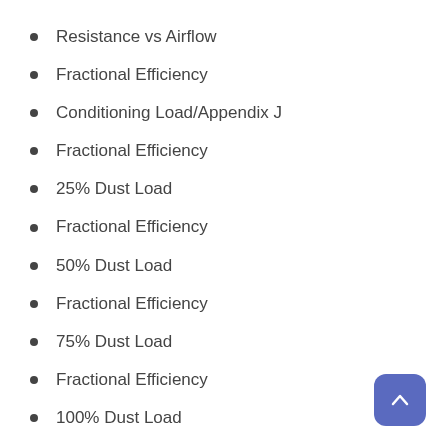Resistance vs Airflow
Fractional Efficiency
Conditioning Load/Appendix J
Fractional Efficiency
25% Dust Load
Fractional Efficiency
50% Dust Load
Fractional Efficiency
75% Dust Load
Fractional Efficiency
100% Dust Load
Fractional Efficiency